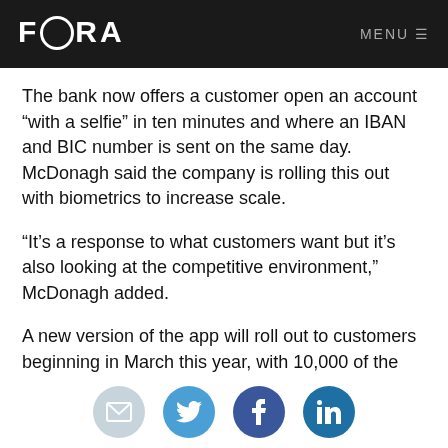FORA   MENU
The bank now offers a customer open an account “with a selfie” in ten minutes and where an IBAN and BIC number is sent on the same day. McDonagh said the company is rolling this out with biometrics to increase scale.
“It’s a response to what customers want but it’s also looking at the competitive environment,” McDonagh added.
A new version of the app will roll out to customers beginning in March this year, with 10,000 of the company’s employees currently using it. It was originally planned that the app would launch in July